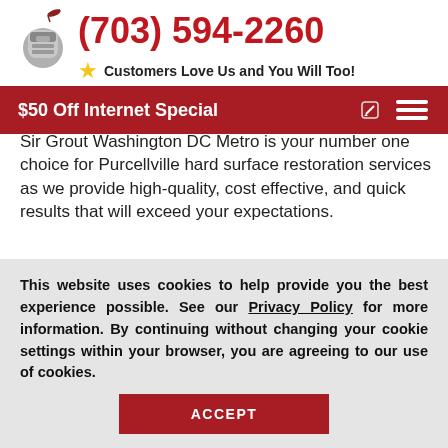[Figure (logo): Knight mascot logo with quill pen icon]
(703) 594-2260
Customers Love Us and You Will Too!
$50 Off Internet Special
Sir Grout Washington DC Metro is your number one choice for Purcellville hard surface restoration services as we provide high-quality, cost effective, and quick results that will exceed your expectations.
Call us now for a free estimate at (703) 594-2260
This website uses cookies to help provide you the best experience possible. See our Privacy Policy for more information. By continuing without changing your cookie settings within your browser, you are agreeing to our use of cookies.
ACCEPT